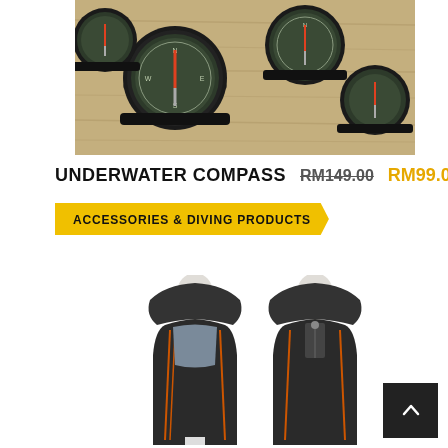[Figure (photo): Photo of multiple underwater compasses with black straps arranged on a beige/wood surface, showing circular dial faces]
UNDERWATER COMPASS   RM149.00  RM99.00
ACCESSORIES & DIVING PRODUCTS
[Figure (photo): Photo of two mannequins wearing dark diving wetsuits/drysuits with orange trim, showing front and back views]